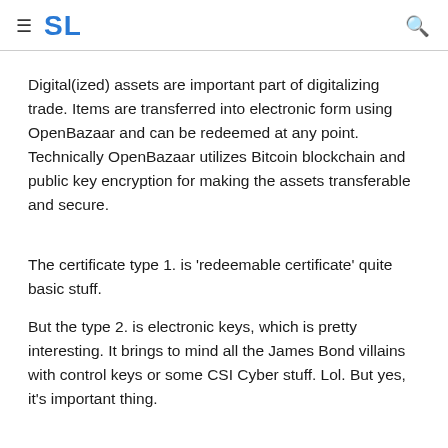≡ SL 🔍
Digital(ized) assets are important part of digitalizing trade. Items are transferred into electronic form using OpenBazaar and can be redeemed at any point. Technically OpenBazaar utilizes Bitcoin blockchain and public key encryption for making the assets transferable and secure.
The certificate type 1. is 'redeemable certificate' quite basic stuff.
But the type 2. is electronic keys, which is pretty interesting. It brings to mind all the James Bond villains with control keys or some CSI Cyber stuff. Lol. But yes, it's important thing.